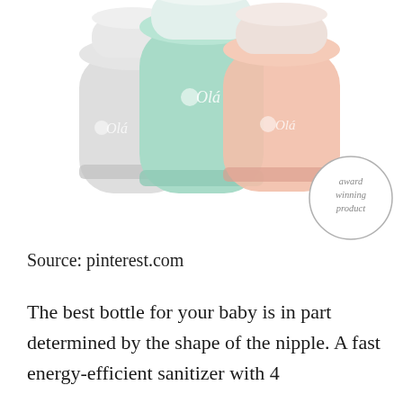[Figure (photo): Three Olá baby bottles arranged side by side — grey/white on the left, mint green in the center (front), and peach/salmon on the right. All have white lids. A circular badge in the lower right reads 'award winning product'.]
Source: pinterest.com
The best bottle for your baby is in part determined by the shape of the nipple. A fast energy-efficient sanitizer with 4